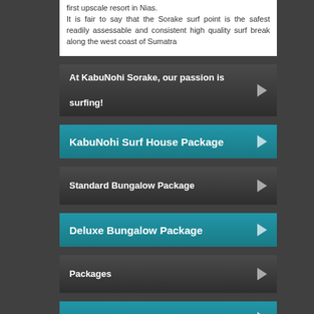first upscale resort in Nias. It is fair to say that the Sorake surf point is the safest readily assessable and consistent high quality surf break along the west coast of Sumatra
At KabuNohi Sorake, our passion is surfing!
KabuNohi Surf House Package
Standard Bungalow Package
Deluxe Bungalow Package
Packages
Photo Gallery